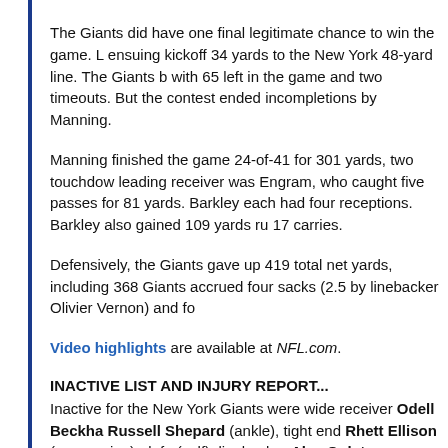The Giants did have one final legitimate chance to win the game. L ensuing kickoff 34 yards to the New York 48-yard line. The Giants b with 65 left in the game and two timeouts. But the contest ended incompletions by Manning.
Manning finished the game 24-of-41 for 301 yards, two touchdowns leading receiver was Engram, who caught five passes for 81 yards. Barkley each had four receptions. Barkley also gained 109 yards ru 17 carries.
Defensively, the Giants gave up 419 total net yards, including 368 Giants accrued four sacks (2.5 by linebacker Olivier Vernon) and fo
Video highlights are available at NFL.com.
INACTIVE LIST AND INJURY REPORT...
Inactive for the New York Giants were wide receiver Odell Beckha Russell Shepard (ankle), tight end Rhett Ellison (concussion), defe (calf), linebacker Alec Ogletree (concussion), tight end Garrett Dic Moore.